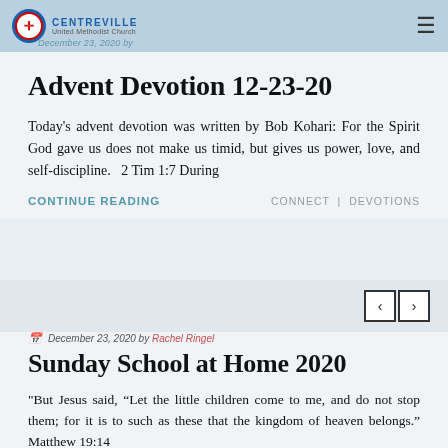Centreville United Methodist Church
December 23, 2020 by
Advent Devotion 12-23-20
Today's advent devotion was written by Bob Kohari: For the Spirit God gave us does not make us timid, but gives us power, love, and self-discipline.   2 Tim 1:7 During
CONTINUE READING
CONNECT | DEVOTIONS
December 23, 2020 by Rachel Ringel
Sunday School at Home 2020
"But Jesus said, “Let the little children come to me, and do not stop them; for it is to such as these that the kingdom of heaven belongs.” Matthew 19:14
CONTINUE READING
CHILDREN | RECENT EVENTS